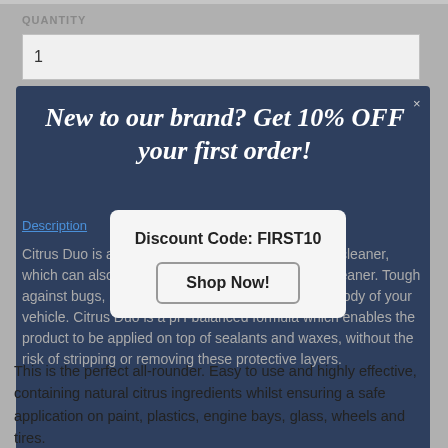QUANTITY
1
New to our brand? Get 10% OFF your first order!
Description
Citrus Duo is a safe yet highly effective all-purpose cleaner, which can also be used as a high-gloss car wash cleaner. Tough against bugs, road dirt and grime but gentle to the body of your vehicle. Citrus Duo is a pH-balanced formula which enables the product to be applied on top of sealants and waxes, without the risk of stripping or removing these protective layers.
Discount Code: FIRST10
Shop Now!
This is the perfect all-rounder. Easy to use and highly effective, containing natural citrus ingredients whilst ensuring a safe application on paint, plastics, engine bays, glass, wheels and tires.